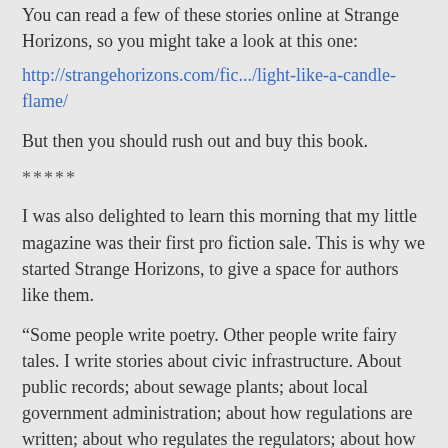You can read a few of these stories online at Strange Horizons, so you might take a look at this one:
http://strangehorizons.com/fic.../light-like-a-candle-flame/
But then you should rush out and buy this book.
*****
I was also delighted to learn this morning that my little magazine was their first pro fiction sale. This is why we started Strange Horizons, to give a space for authors like them.
“Some people write poetry. Other people write fairy tales. I write stories about civic infrastructure. About public records; about sewage plants; about local government administration; about how regulations are written; about who regulates the regulators; about how people divide resources in a time of scarcity; about paperwork. Sometimes my stories have magic, other times they have spaceships, but I’m fundamentally preoccupied with bureaucracy.